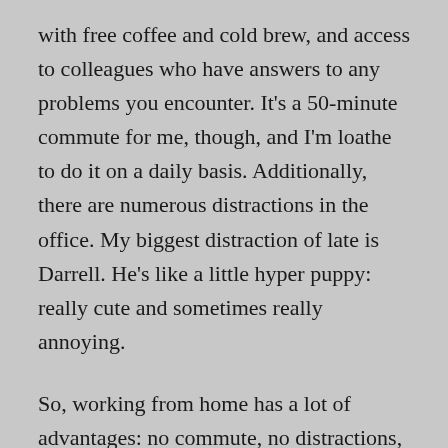with free coffee and cold brew, and access to colleagues who have answers to any problems you encounter. It's a 50-minute commute for me, though, and I'm loathe to do it on a daily basis. Additionally, there are numerous distractions in the office. My biggest distraction of late is Darrell. He's like a little hyper puppy: really cute and sometimes really annoying.

So, working from home has a lot of advantages: no commute, no distractions, no Darrell. It does, however, come with its own set of challenges. First of all, the refrigerator is never more than 10 feet away. Secondly, I have a cat who loves to play fetch (for real), and he doesn't like to be ignored when he drops his fake mouse at my feet. Finally, bed. Oh my… how nice it is to take